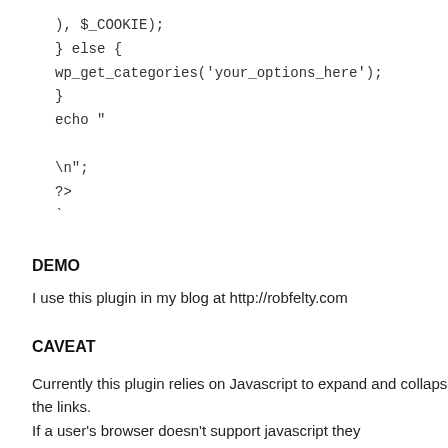), $_COOKIE);
} else {
wp_get_categories('your_options_here');
}
echo "


\n";
?>
`
DEMO
I use this plugin in my blog at http://robfelty.com
CAVEAT
Currently this plugin relies on Javascript to expand and collapse the links.
If a user's browser doesn't support javascript they